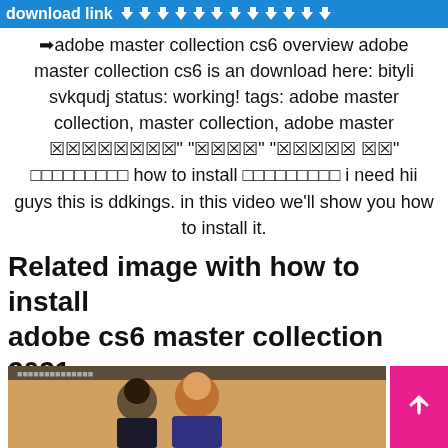download link ⬇⬇⬇⬇⬇⬇⬇⬇⬇⬇⬇⬇
➡adobe master collection cs6 overview adobe master collection cs6 is an download here: bityli svkqudj status: working! tags: adobe master collection, master collection, adobe master 🔲🔲🔲🔲🔲🔲🔲🔲" "🔲🔲🔲🔲" "🔲🔲🔲🔲🔲🔲" 🔲🔲" ⬜⬜⬜⬜⬜⬜⬜⬜⬜ how to install ⬜⬜⬜⬜⬜⬜⬜⬜⬜ i need hii guys this is ddkings. in this video we'll show you how to install it.
Related image with how to install adobe cs6 master collection 2021
[Figure (photo): Thumbnail image of a video showing a person's face]